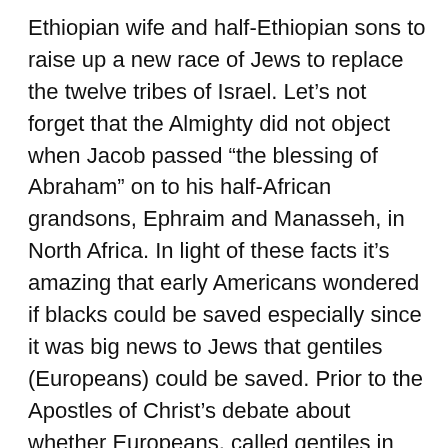Ethiopian wife and half-Ethiopian sons to raise up a new race of Jews to replace the twelve tribes of Israel. Let’s not forget that the Almighty did not object when Jacob passed “the blessing of Abraham” on to his half-African grandsons, Ephraim and Manasseh, in North Africa. In light of these facts it’s amazing that early Americans wondered if blacks could be saved especially since it was big news to Jews that gentiles (Europeans) could be saved. Prior to the Apostles of Christ’s debate about whether Europeans, called gentiles in Scripture, could be saved, Niger and Lucius were black Bible teachers at Antioch (where believers were first called Christians) and an Ethiopian eunuch had been saved and baptized. (Acts 13:1,